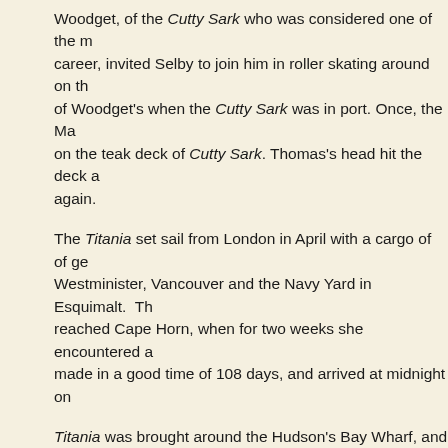Woodget, of the Cutty Sark who was considered one of the most skilled captains of his career, invited Selby to join him in roller skating around on the deck. Thomas was a friend of Woodget's when the Cutty Sark was in port. Once, the Master challenged Thomas on the teak deck of Cutty Sark. Thomas's head hit the deck and he never roller skated again.
The Titania set sail from London in April with a cargo of of general merchandise for New Westminister, Vancouver and the Navy Yard in Esquimalt. The worst part of the voyage reached Cape Horn, when for two weeks she encountered a succession of heavy gales. She made in a good time of 108 days, and arrived at midnight on the 22nd of July.
Titania was brought around the Hudson's Bay Wharf, and then taken over to the mainland. In July, the Hudson's Bay Company had announced that they would no longer use the Titania for transporting furs. They were now to be carried by steamer, with the Titania carrying "salted hair seals but none of the furs."
The days of the mighty clipper were coming to an end, and the owners were warned that unless the market improved soon that the Titania would soon be laid up and might not return the following season. In 1891, the Fraser salmon pack was very poor season and Mr. Todd reported, "so far the pack on the river is very small, scarcely enough to fill the cans which have been prepared will have to be carried over to the next year..." While tied up in New Westminister it was said that Titania ha